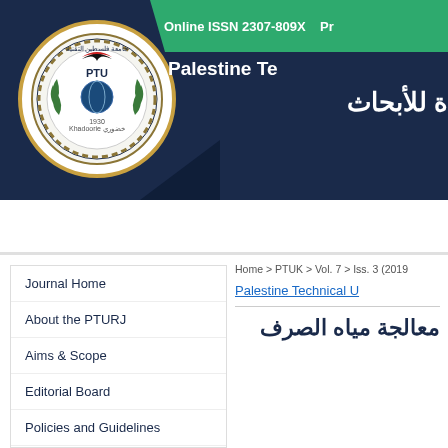[Figure (logo): Palestine Technical University circular logo with PTU initials, Khadoorie text, and gear/wreath border]
Online ISSN 2307-809X  Pr
Palestine Te... (Palestine Technical University Research Journal)
للأبحاث (Arabic title partial)
My Account   FAQ   Home
Home > PTUK > Vol. 7 > Iss. 3 (2019
Palestine Technical U...
Journal Home
About the PTURJ
Aims & Scope
Editorial Board
Policies and Guidelines
معالجة مياه الصرف